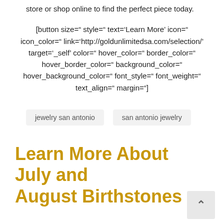store or shop online to find the perfect piece today.
[button size=" style=" text='Learn More' icon=" icon_color=" link='http://goldunlimitedsa.com/selection/' target='_self' color=" hover_color=" border_color=" hover_border_color=" background_color=" hover_background_color=" font_style=" font_weight=" text_align=" margin="]
jewelry san antonio
san antonio jewelry
Learn More About July and August Birthstones